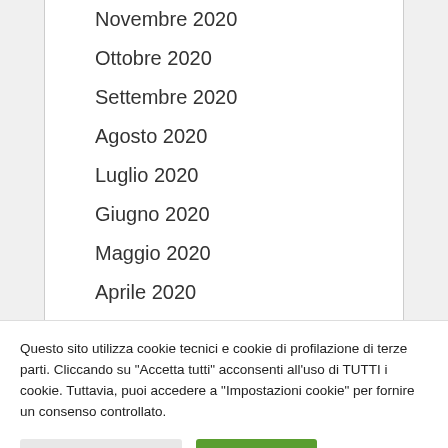Novembre 2020
Ottobre 2020
Settembre 2020
Agosto 2020
Luglio 2020
Giugno 2020
Maggio 2020
Aprile 2020
Marzo 2020
Febbraio 2020
Gennaio 2020
Dicembre 2019
Questo sito utilizza cookie tecnici e cookie di profilazione di terze parti. Cliccando su "Accetta tutti" acconsenti all'uso di TUTTI i cookie. Tuttavia, puoi accedere a "Impostazioni cookie" per fornire un consenso controllato.
Impostazioni Cookie | Accetta tutti